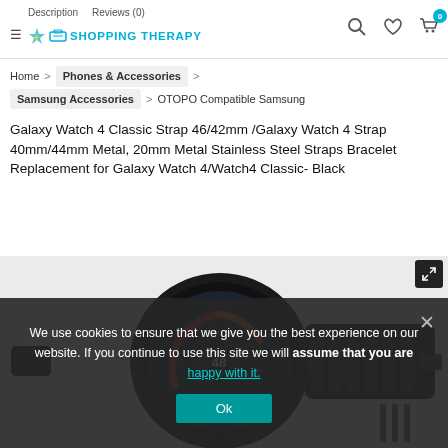Description  Reviews (0) | SHOPPING THERAPY | [search] [wishlist] [cart 0]
Home > Phones & Accessories > Samsung Accessories > OTOPO Compatible Samsung Galaxy Watch 4 Classic Strap 46/42mm /Galaxy Watch 4 Strap 40mm/44mm Metal, 20mm Metal Stainless Steel Straps Bracelet Replacement for Galaxy Watch 4/Watch4 Classic- Black
Galaxy Watch 4 Classic Strap 46/42mm /Galaxy Watch 4 Strap 40mm/44mm Metal, 20mm Metal Stainless Steel Straps Bracelet Replacement for Galaxy Watch 4/Watch4 Classic- Black
[Figure (photo): Black stainless steel metal watch strap for Samsung Galaxy Watch 4, showing the watch face with colorful dashboard display and the metal bracelet link band with adjustment tool]
We use cookies to ensure that we give you the best experience on our website. If you continue to use this site we will assume that you are happy with it.
Ok